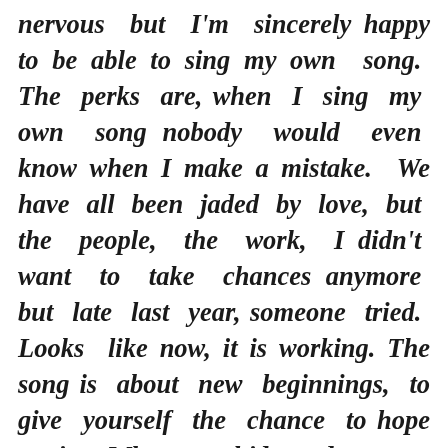nervous but I'm sincerely happy to be able to sing my own song. The perks are, when I sing my own song nobody would even know when I make a mistake. We have all been jaded by love, but the people, the work, I didn't want to take chances anymore but late last year, someone tried. Looks like now, it is working. The song is about new beginnings, to give yourself the chance to hope again. When you hide under rugs, give somebody